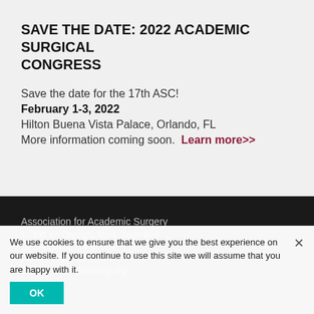SAVE THE DATE: 2022 ACADEMIC SURGICAL CONGRESS
Save the date for the 17th ASC!
February 1-3, 2022
Hilton Buena Vista Palace, Orlando, FL
More information coming soon.  Learn more>>
Association for Academic Surgery
11300 W. Olympic Blvd, Suite 600
Los Angeles, CA 90064
Phone: (310) 437-1606
Email: admin@aasurg.org
We use cookies to ensure that we give you the best experience on our website. If you continue to use this site we will assume that you are happy with it.